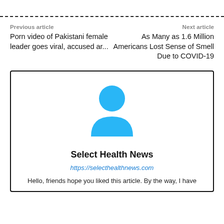Previous article
Porn video of Pakistani female leader goes viral, accused ar...
Next article
As Many as 1.6 Million Americans Lost Sense of Smell Due to COVID-19
[Figure (illustration): Blue generic user avatar icon — circle head above rounded body shape]
Select Health News
https://selecthealthnews.com
Hello, friends hope you liked this article. By the way, I have